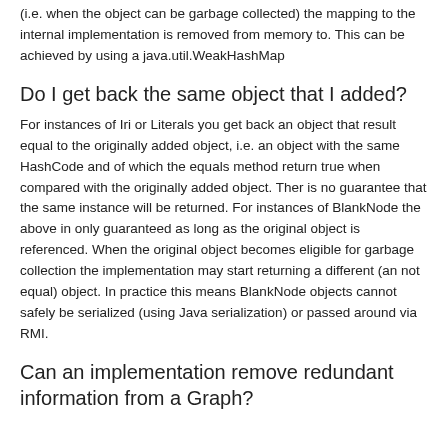(i.e. when the object can be garbage collected) the mapping to the internal implementation is removed from memory to. This can be achieved by using a java.util.WeakHashMap
Do I get back the same object that I added?
For instances of Iri or Literals you get back an object that result equal to the originally added object, i.e. an object with the same HashCode and of which the equals method return true when compared with the originally added object. Ther is no guarantee that the same instance will be returned. For instances of BlankNode the above in only guaranteed as long as the original object is referenced. When the original object becomes eligible for garbage collection the implementation may start returning a different (an not equal) object. In practice this means BlankNode objects cannot safely be serialized (using Java serialization) or passed around via RMI.
Can an implementation remove redundant information from a Graph?